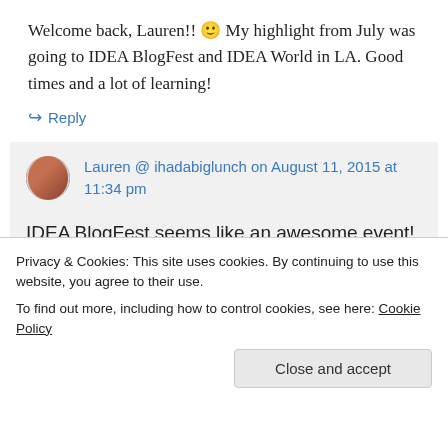Welcome back, Lauren!! 🙂 My highlight from July was going to IDEA BlogFest and IDEA World in LA. Good times and a lot of learning!
↪ Reply
Lauren @ ihadabiglunch on August 11, 2015 at 11:34 pm
IDEA BlogFest seems like an awesome event! Can't wait to see what else you've
Privacy & Cookies: This site uses cookies. By continuing to use this website, you agree to their use. To find out more, including how to control cookies, see here: Cookie Policy
Close and accept